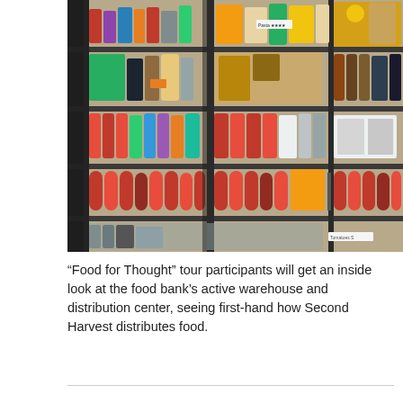[Figure (photo): Interior of a food bank warehouse showing metal shelving units stocked with canned goods, pasta, jars, and various food items organized on multiple shelves with label tags.]
“Food for Thought” tour participants will get an inside look at the food bank’s active warehouse and distribution center, seeing first-hand how Second Harvest distributes food.
Monkeypox outbreak reaches nearly 11,000 cases in the US; Florida ranks 3rd in caseloads